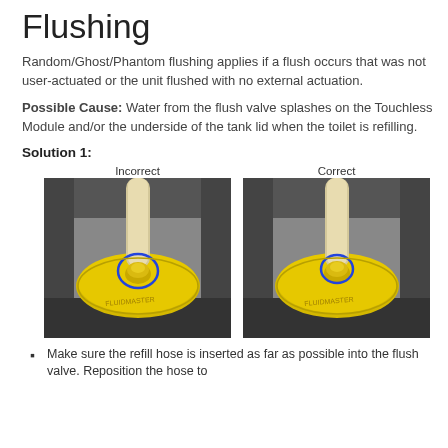Flushing
Random/Ghost/Phantom flushing applies if a flush occurs that was not user-actuated or the unit flushed with no external actuation.
Possible Cause: Water from the flush valve splashes on the Touchless Module and/or the underside of the tank lid when the toilet is refilling.
Solution 1:
[Figure (photo): Two side-by-side photos labeled Incorrect and Correct, each showing a yellow flush valve component with a blue circle highlighting the refill hose insertion point. The left (Incorrect) shows the hose not fully inserted; the right (Correct) shows the hose fully inserted.]
Make sure the refill hose is inserted as far as possible into the flush valve. Reposition the hose to